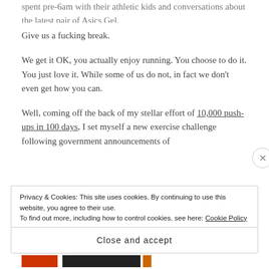spent pre-6am with their athletic kids and conversations about the latest pair of Asics Gel.
Give us a fucking break.
We get it OK, you actually enjoy running. You choose to do it. You just love it. While some of us do not, in fact we don't even get how you can.
Well, coming off the back of my stellar effort of 10,000 push-ups in 100 days, I set myself a new exercise challenge following government announcements of
Privacy & Cookies: This site uses cookies. By continuing to use this website, you agree to their use.
To find out more, including how to control cookies, see here: Cookie Policy
Close and accept